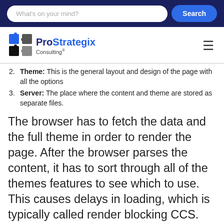What's on your mind? [Search bar] Search
[Figure (logo): ProStrategix Consulting logo with puzzle piece icon]
2. Theme: This is the general layout and design of the page with all the options
3. Server: The place where the content and theme are stored as separate files.
The browser has to fetch the data and the full theme in order to render the page. After the browser parses the content, it has to sort through all of the themes features to see which to use. This causes delays in loading, which is typically called render blocking CCS.